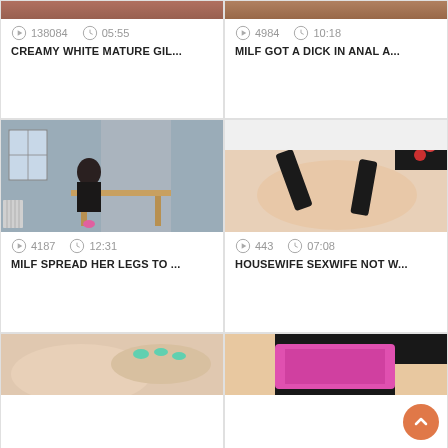[Figure (screenshot): Video thumbnail - top left, partial crop of person]
138084  05:55
CREAMY WHITE MATURE GIL...
[Figure (screenshot): Video thumbnail - top right, partial crop]
4984  10:18
MILF GOT A DICK IN ANAL A...
[Figure (photo): Room scene with woman sitting at table]
4187  12:31
MILF SPREAD HER LEGS TO ...
[Figure (photo): Adult content thumbnail]
443  07:08
HOUSEWIFE SEXWIFE NOT W...
[Figure (photo): Adult content thumbnail bottom left]
[Figure (photo): Adult content thumbnail bottom right with pink clothing and orange scroll button]